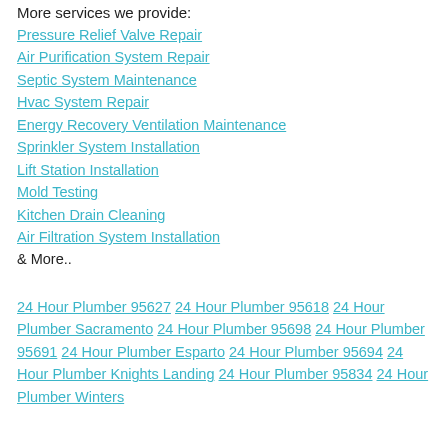More services we provide:
Pressure Relief Valve Repair
Air Purification System Repair
Septic System Maintenance
Hvac System Repair
Energy Recovery Ventilation Maintenance
Sprinkler System Installation
Lift Station Installation
Mold Testing
Kitchen Drain Cleaning
Air Filtration System Installation
& More..
24 Hour Plumber 95627 24 Hour Plumber 95618 24 Hour Plumber Sacramento 24 Hour Plumber 95698 24 Hour Plumber 95691 24 Hour Plumber Esparto 24 Hour Plumber 95694 24 Hour Plumber Knights Landing 24 Hour Plumber 95834 24 Hour Plumber Winters